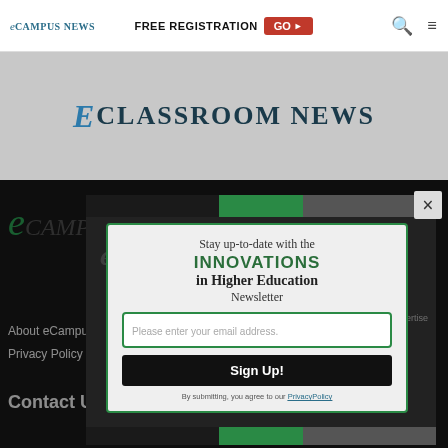eCampus News | FREE REGISTRATION GO
[Figure (logo): eCLASSROOM NEWS logo in banner area with grey background]
About eCampus News
Privacy Policy
Contact Us
[Figure (screenshot): Modal popup newsletter signup: Stay up-to-date with the INNOVATIONS in Higher Education Newsletter. Email input field with placeholder 'Please enter your email address.' Sign Up! button. 'By submitting, you agree to our Privacy Policy' text.]